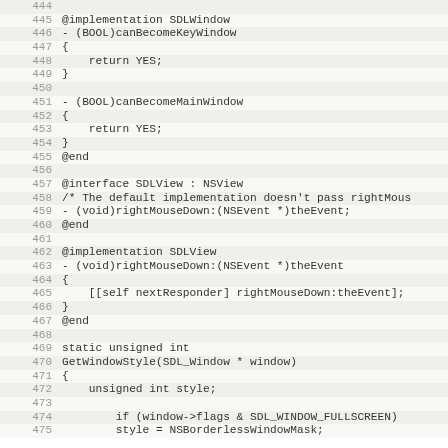[Figure (screenshot): Source code viewer showing Objective-C code lines 444-475, with alternating light gray row backgrounds and gray line numbers on the left. Code includes @implementation SDLWindow, canBecomeKeyWindow, canBecomeMainWindow, @interface SDLView, @implementation SDLView with rightMouseDown method, and static unsigned int GetWindowStyle function.]